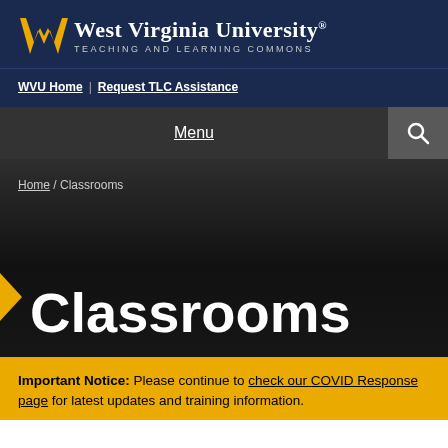[Figure (logo): West Virginia University Teaching and Learning Commons logo with flying W mark in gold and white text on navy background]
WVU Home | Request TLC Assistance
Menu [search icon]
Home / Classrooms
Classrooms
Important Notice: Please continue to check our COVID Response page for latest updates and training information.